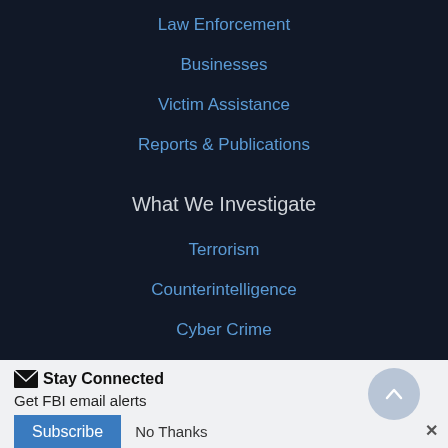Law Enforcement
Businesses
Victim Assistance
Reports & Publications
What We Investigate
Terrorism
Counterintelligence
Cyber Crime
Public Corruption
Civil Rights
Stay Connected
Get FBI email alerts
Subscribe
No Thanks